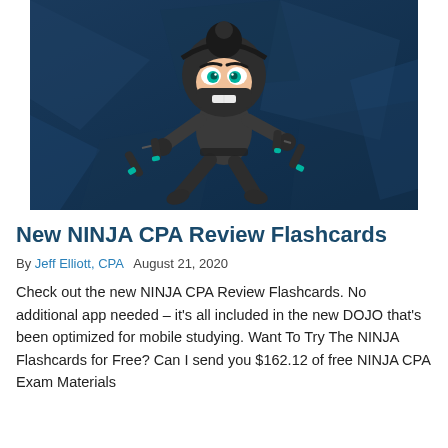[Figure (illustration): Cartoon ninja character in dark grey outfit holding nunchucks, posed dynamically against a dark blue geometric background]
New NINJA CPA Review Flashcards
By Jeff Elliott, CPA   August 21, 2020
Check out the new NINJA CPA Review Flashcards. No additional app needed – it's all included in the new DOJO that's been optimized for mobile studying. Want To Try The NINJA Flashcards for Free? Can I send you $162.12 of free NINJA CPA Exam Materials